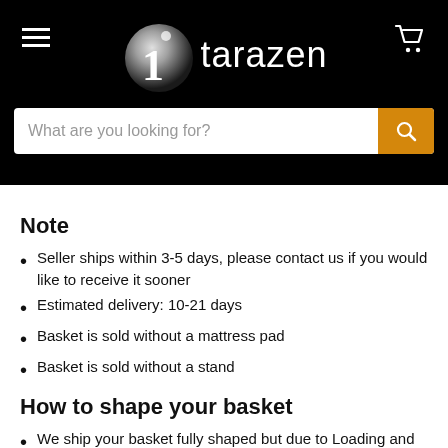[Figure (logo): 1tarazen logo with metallic sphere and white text on black background, hamburger menu icon on left, shopping cart icon on right]
What are you looking for?
Note
Seller ships within 3-5 days, please contact us if you would like to receive it sooner
Estimated delivery: 10-21 days
Basket is sold without a mattress pad
Basket is sold without a stand
How to shape your basket
We ship your basket fully shaped but due to Loading and packing your basket might be out of